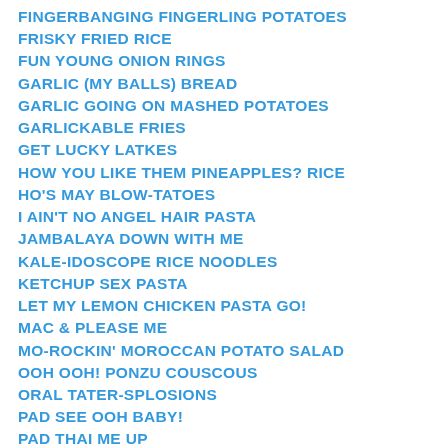FINGERBANGING FINGERLING POTATOES
FRISKY FRIED RICE
FUN YOUNG ONION RINGS
GARLIC (MY BALLS) BREAD
GARLIC GOING ON MASHED POTATOES
GARLICKABLE FRIES
GET LUCKY LATKES
HOW YOU LIKE THEM PINEAPPLES? RICE
HO'S MAY BLOW-TATOES
I AIN'T NO ANGEL HAIR PASTA
JAMBALAYA DOWN WITH ME
KALE-IDOSCOPE RICE NOODLES
KETCHUP SEX PASTA
LET MY LEMON CHICKEN PASTA GO!
MAC & PLEASE ME
MO-ROCKIN' MOROCCAN POTATO SALAD
OOH OOH! PONZU COUSCOUS
ORAL TATER-SPLOSIONS
PAD SEE OOH BABY!
PAD THAI ME UP